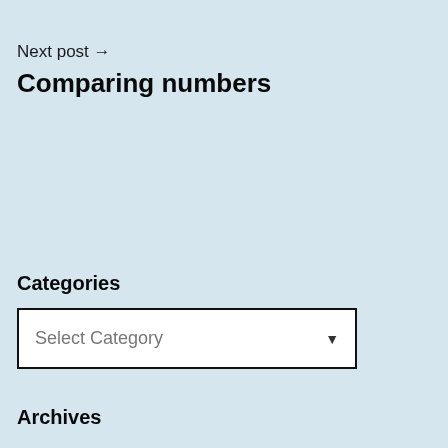Next post →
Comparing numbers
Categories
[Figure (screenshot): A dropdown selector widget showing 'Select Category' with a downward arrow, white background, black border]
Archives